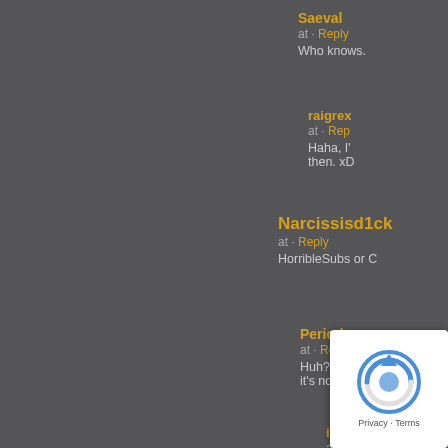[Figure (screenshot): Comment section from a website with dark background showing multiple user comments with anime avatars]
Saeval
at · Reply
Who knows.
raigrex
at · Rep
Haha, I'... then. xD
Narcissisd1ck
at · Reply
HorribleSubs or C
Period
at · Reply
Huh? Horrib... it's not strea
itsP
at · Rep
Not rin
Giv
[Figure (other): reCAPTCHA widget overlay in bottom right corner with recaptcha icon and Privacy · Terms footer]